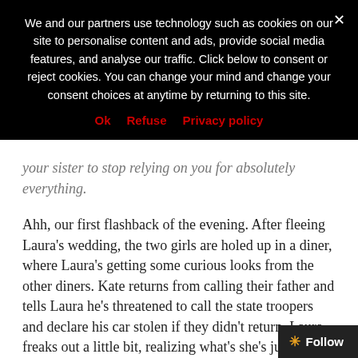We and our partners use technology such as cookies on our site to personalise content and ads, provide social media features, and analyse our traffic. Click below to consent or reject cookies. You can change your mind and change your consent choices at anytime by returning to this site.
Ok   Refuse   Privacy policy
your sister to stop relying on you for absolutely everything.
Ahh, our first flashback of the evening. After fleeing Laura's wedding, the two girls are holed up in a diner, where Laura's getting some curious looks from the other diners. Kate returns from calling their father and tells Laura he's threatened to call the state troopers and declare his car stolen if they didn't return. Laura freaks out a little bit, realizing what's she's just done, but Kate insists she just stood up for herself. Laura, correctly, says she did the opposite of standing up for herself—